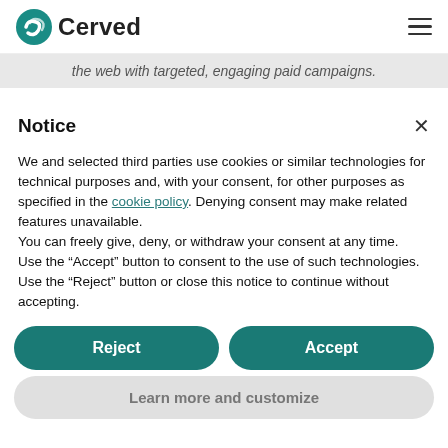Cerved
the web with targeted, engaging paid campaigns.
Notice
We and selected third parties use cookies or similar technologies for technical purposes and, with your consent, for other purposes as specified in the cookie policy. Denying consent may make related features unavailable.
You can freely give, deny, or withdraw your consent at any time.
Use the “Accept” button to consent to the use of such technologies. Use the “Reject” button or close this notice to continue without accepting.
Reject
Accept
Learn more and customize